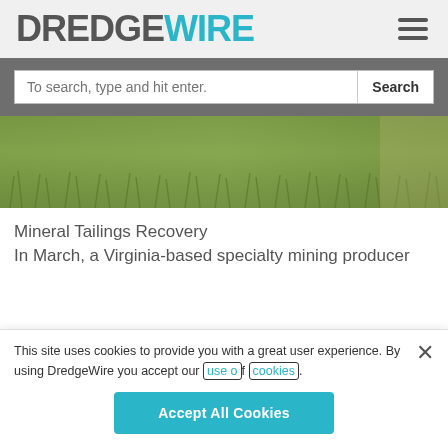DREDGEWIRE
To search, type and hit enter.
[Figure (photo): Strip of green grass/turf photographed from above]
Mineral Tailings Recovery
In March, a Virginia-based specialty mining producer
This site uses cookies to provide you with a great user experience. By using DredgeWire you accept our use of cookies.
Accept All Cookies